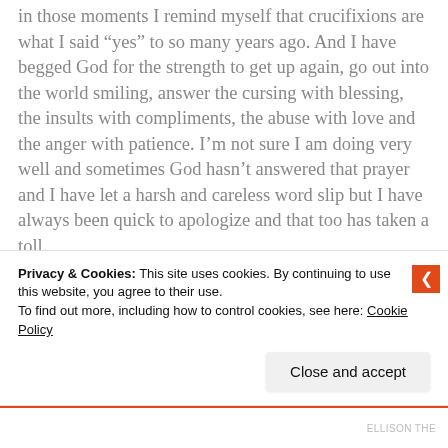in those moments I remind myself that crucifixions are what I said “yes” to so many years ago.  And I have begged God for the strength to get up again, go out into the world smiling, answer the cursing with blessing, the insults with compliments, the abuse with love and the anger with patience.  I’m not sure I am doing very well and sometimes God hasn’t answered that prayer and I have let a harsh and careless word slip but I have always been quick to apologize and that too has taken a toll.
Privacy & Cookies: This site uses cookies. By continuing to use this website, you agree to their use.
To find out more, including how to control cookies, see here: Cookie Policy
Close and accept